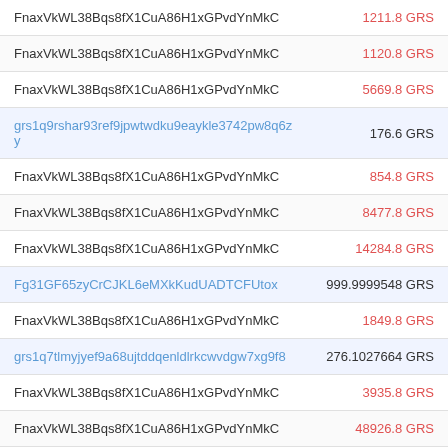| Address | Amount |
| --- | --- |
| FnaxVkWL38Bqs8fX1CuA86H1xGPvdYnMkC | 1211.8 GRS |
| FnaxVkWL38Bqs8fX1CuA86H1xGPvdYnMkC | 1120.8 GRS |
| FnaxVkWL38Bqs8fX1CuA86H1xGPvdYnMkC | 5669.8 GRS |
| grs1q9rshar93ref9jpwtwdku9eaykle3742pw8q6zy | 176.6 GRS |
| FnaxVkWL38Bqs8fX1CuA86H1xGPvdYnMkC | 854.8 GRS |
| FnaxVkWL38Bqs8fX1CuA86H1xGPvdYnMkC | 8477.8 GRS |
| FnaxVkWL38Bqs8fX1CuA86H1xGPvdYnMkC | 14284.8 GRS |
| Fg31GF65zyCrCJKL6eMXkKudUADTCFUtox | 999.9999548 GRS |
| FnaxVkWL38Bqs8fX1CuA86H1xGPvdYnMkC | 1849.8 GRS |
| grs1q7tlmyjyef9a68ujtddqenldlrkcwvdgw7xg9f8 | 276.1027664 GRS |
| FnaxVkWL38Bqs8fX1CuA86H1xGPvdYnMkC | 3935.8 GRS |
| FnaxVkWL38Bqs8fX1CuA86H1xGPvdYnMkC | 48926.8 GRS |
| FnaxVkWL38Bqs8fX1CuA86H1xGPvdYnMkC | 13012.8 GRS |
| FnaxVkWL38Bqs8fX1CuA86H1xGPvdYnMkC | 23589.8 GRS |
| Fi8CxfpXRJjOJMEawgoyPtc2icLSWPoz4Z | 2730 GRS |